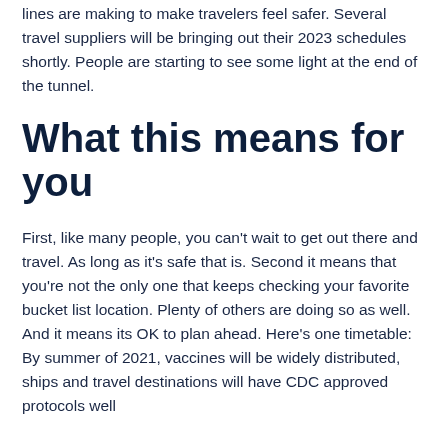lines are making to make travelers feel safer. Several travel suppliers will be bringing out their 2023 schedules shortly. People are starting to see some light at the end of the tunnel.
What this means for you
First, like many people, you can't wait to get out there and travel. As long as it's safe that is. Second it means that you're not the only one that keeps checking your favorite bucket list location. Plenty of others are doing so as well. And it means its OK to plan ahead. Here's one timetable: By summer of 2021, vaccines will be widely distributed, ships and travel destinations will have CDC approved protocols well